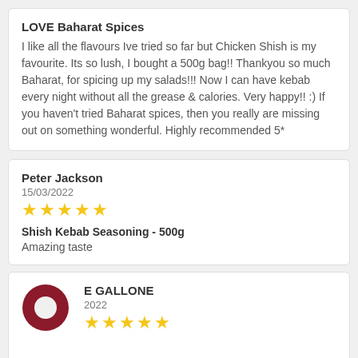LOVE Baharat Spices
I like all the flavours Ive tried so far but Chicken Shish is my favourite. Its so lush, I bought a 500g bag!! Thankyou so much Baharat, for spicing up my salads!!! Now I can have kebab every night without all the grease & calories. Very happy!! :) If you haven't tried Baharat spices, then you really are missing out on something wonderful. Highly recommended 5*
Peter Jackson
15/03/2022
★★★★★
Shish Kebab Seasoning - 500g
Amazing taste
E GALLONE
2022
★★★★★